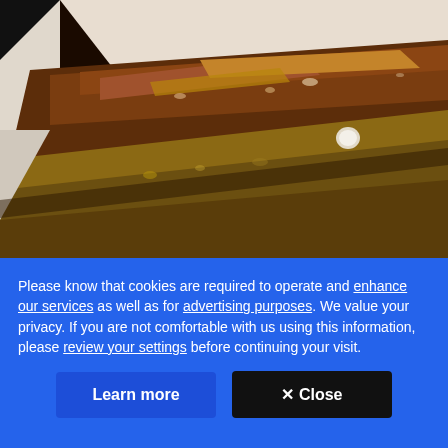[Figure (photo): Close-up photograph of deteriorated/damaged building structure showing rust-stained, crumbling concrete or masonry at a corner joint. Brown, earthy tones with debris and what appears to be termite or moisture damage along the base.]
Please know that cookies are required to operate and enhance our services as well as for advertising purposes. We value your privacy. If you are not comfortable with us using this information, please review your settings before continuing your visit.
Learn more
✕ Close